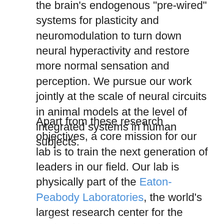the brain's endogenous "pre-wired" systems for plasticity and neuromodulation to turn down neural hyperactivity and restore more normal sensation and perception. We pursue our work jointly at the scale of neural circuits in animal models at the level of integrated systems in human subjects.
Apart from these research objectives, a core mission for our lab is to train the next generation of leaders in our field. Our lab is physically part of the Eaton-Peabody Laboratories, the world's largest research center for the study of hearing and deafness, at the Massachusetts Eye and Ear, near the historic Beacon Hill district of Boston. Our lab is home to a multinational group of staff scientists, postdoctoral trainees, and faculty affiliated with the Department of Otolaryngology, Head and Neck Surgery at